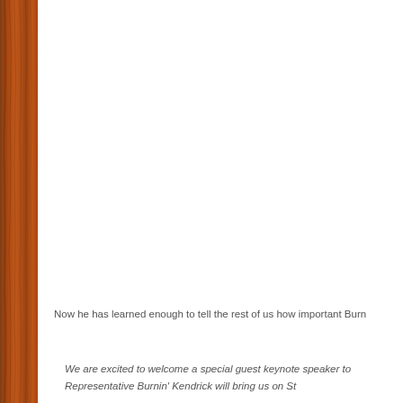[Figure (photo): Brown wood-grain decorative strip on the left edge of the page]
Now he has learned enough to tell the rest of us how important Burn
We are excited to welcome a special guest keynote speaker to Representative Burnin' Kendrick will bring us on St